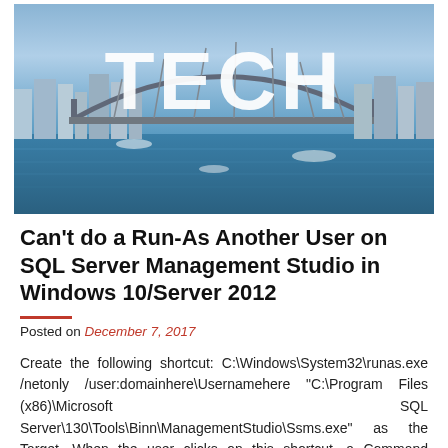[Figure (photo): A cityscape/harbour photo (Sydney Harbour Bridge visible) with the word TECH overlaid in large white bold letters.]
Can't do a Run-As Another User on SQL Server Management Studio in Windows 10/Server 2012
Posted on December 7, 2017
Create the following shortcut: C:\Windows\System32\runas.exe /netonly /user:domainhere\Usernamehere "C:\Program Files (x86)\Microsoft SQL Server\130\Tools\Binn\ManagementStudio\Ssms.exe" as the Target. When the user clicks on this shortcut, a Command window will appear asking for the password